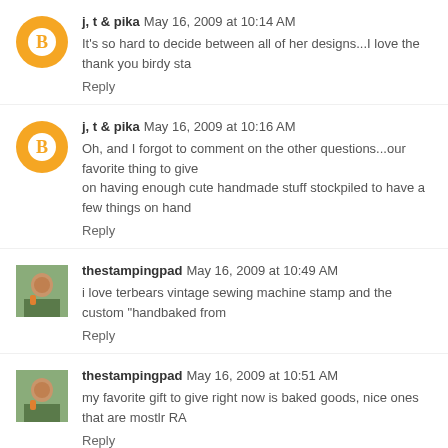j, t & pika  May 16, 2009 at 10:14 AM
It's so hard to decide between all of her designs...I love the thank you birdy sta
Reply
j, t & pika  May 16, 2009 at 10:16 AM
Oh, and I forgot to comment on the other questions...our favorite thing to give on having enough cute handmade stuff stockpiled to have a few things on hand
Reply
thestampingpad  May 16, 2009 at 10:49 AM
i love terbears vintage sewing machine stamp and the custom "handbaked from
Reply
thestampingpad  May 16, 2009 at 10:51 AM
my favorite gift to give right now is baked goods, nice ones that are mostlr RA
Reply